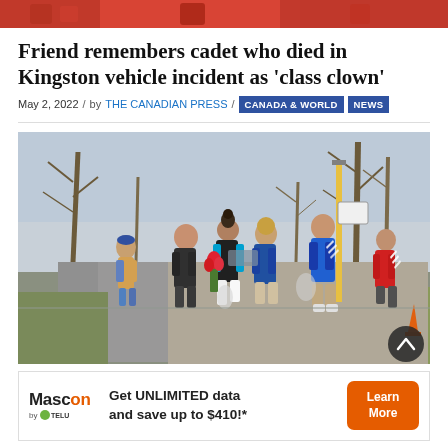[Figure (photo): Cropped top portion of a photo showing people in red outfits]
Friend remembers cadet who died in Kingston vehicle incident as ‘class clown’
May 2, 2022 / by THE CANADIAN PRESS / CANADA & WORLD NEWS
[Figure (photo): Group of people walking away from camera on a road or path, one person carrying red roses, leafless trees in background, spring scene]
Get UNLIMITED data and save up to $410!* — Mascon by TELUS advertisement